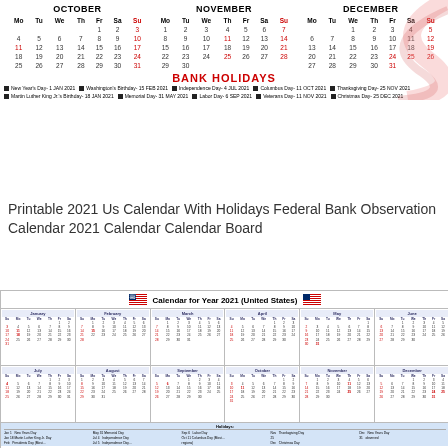[Figure (table-as-image): Three-month calendar showing October, November, December 2021 with Bank Holidays list]
Printable 2021 Us Calendar With Holidays Federal Bank Observation Calendar 2021 Calendar Calendar Board
[Figure (table-as-image): Full year 2021 calendar for United States with all 12 months and holidays footer]